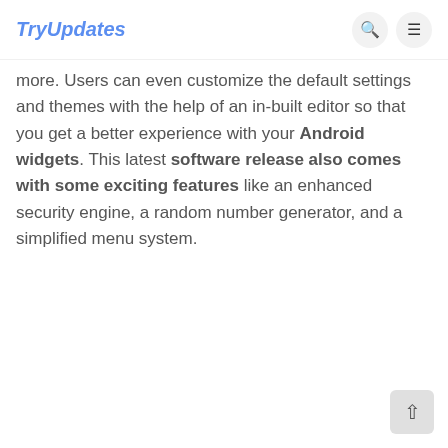TryUpdates
more. Users can even customize the default settings and themes with the help of an in-built editor so that you get a better experience with your Android widgets. This latest software release also comes with some exciting features like an enhanced security engine, a random number generator, and a simplified menu system.